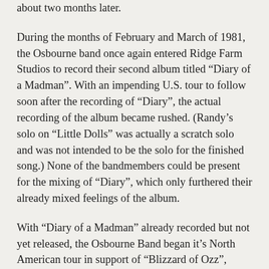about two months later.
During the months of February and March of 1981, the Osbourne band once again entered Ridge Farm Studios to record their second album titled “Diary of a Madman”. With an impending U.S. tour to follow soon after the recording of “Diary”, the actual recording of the album became rushed. (Randy’s solo on “Little Dolls” was actually a scratch solo and was not intended to be the solo for the finished song.) None of the bandmembers could be present for the mixing of “Diary”, which only furthered their already mixed feelings of the album.
With “Diary of a Madman” already recorded but not yet released, the Osbourne Band began it’s North American tour in support of “Blizzard of Ozz”, beginning in Towson, Maryland on April 22, 1981. Though they did not play on either studio efforts